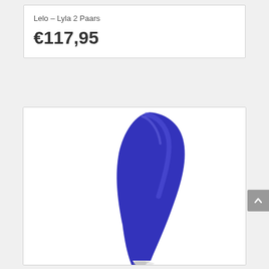Lelo – Lyla 2 Paars
€117,95
[Figure (photo): Close-up photo of a purple/blue Lelo Lyla 2 personal massager product, showing the curved tip and body of the device against a white background. The device has a deep blue/purple silicone head curving to a white base at the bottom.]